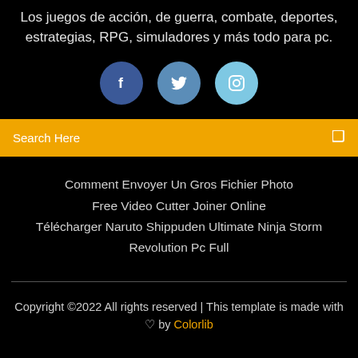Los juegos de acción, de guerra, combate, deportes, estrategias, RPG, simuladores y más todo para pc.
[Figure (infographic): Three social media icons: Facebook (dark blue circle with f), Twitter (medium blue circle with bird), Instagram (light blue circle with camera outline)]
Search Here
Comment Envoyer Un Gros Fichier Photo
Free Video Cutter Joiner Online
Télécharger Naruto Shippuden Ultimate Ninja Storm Revolution Pc Full
Copyright ©2022 All rights reserved | This template is made with ♡ by Colorlib